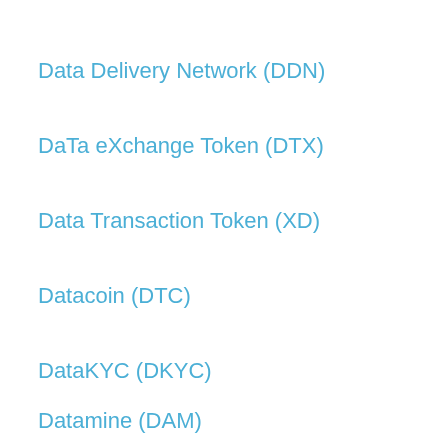Data Delivery Network (DDN)
DaTa eXchange Token (DTX)
Data Transaction Token (XD)
Datacoin (DTC)
DataKYC (DKYC)
Datamine (DAM)